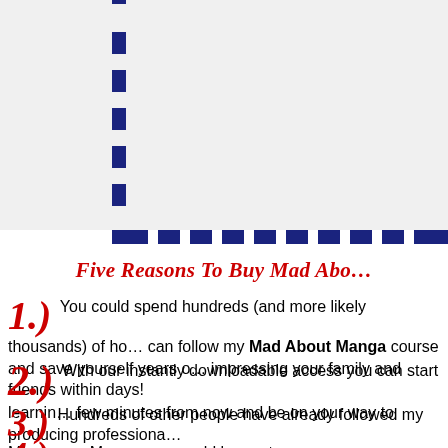[Figure (illustration): Payment method icons: Visa (orange), MasterCard (red/orange circles), American Express (blue) at top of page]
[Figure (other): Dashed blue border corner piece forming an L-shape on the left and bottom of the top section]
Five Reasons To Buy Mad About Manga
1.) You could spend hundreds (and more likely thousands) of hours... can follow my Mad About Manga course and save yourself years of... impressing your family and friends within days!
2.) With our instantly downloadable access you can start learning... few minutes from now and be on your way to producing professional...
3.) Hundreds of other people have already followed my Manga... Manga, you could be next.
4.)